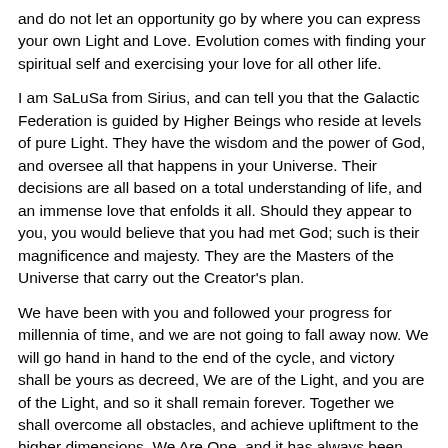and do not let an opportunity go by where you can express your own Light and Love. Evolution comes with finding your spiritual self and exercising your love for all other life.
I am SaLuSa from Sirius, and can tell you that the Galactic Federation is guided by Higher Beings who reside at levels of pure Light. They have the wisdom and the power of God, and oversee all that happens in your Universe. Their decisions are all based on a total understanding of life, and an immense love that enfolds it all. Should they appear to you, you would believe that you had met God; such is their magnificence and majesty. They are the Masters of the Universe that carry out the Creator’s plan.
We have been with you and followed your progress for millennia of time, and we are not going to fall away now. We will go hand in hand to the end of the cycle, and victory shall be yours as decreed, We are of the Light, and you are of the Light, and so it shall remain forever. Together we shall overcome all obstacles, and achieve upliftment to the higher dimensions. We Are One, and it has always been that way and so it will remain for all Infinity.
Thank you SaLuSa.
Mike Quinsey.